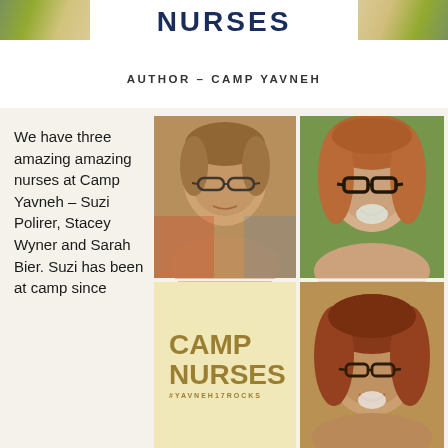NURSES
AUTHOR - CAMP YAVNEH
[Figure (photo): Collage of four images: top-left photo of older woman with glasses, top-right photo of young woman with red hair and dark-rimmed glasses smiling, bottom-left Camp Nurses #YAVNEH17ROCKS logo on yellow background, bottom-right photo of woman with red/brown hair and glasses smiling]
We have three amazing amazing nurses at Camp Yavneh – Suzi Polirer, Stacey Wyner and Sarah Bier. Suzi has been at camp since